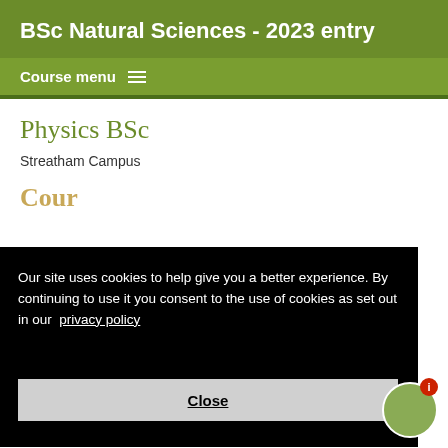BSc Natural Sciences - 2023 entry
Course menu
Physics BSc
Streatham Campus
Our site uses cookies to help give you a better experience. By continuing to use it you consent to the use of cookies as set out in our privacy policy
Close